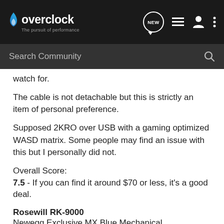overclock — The pursuit of performance
watch for.
The cable is not detachable but this is strictly an item of personal preference.
Supposed 2KRO over USB with a gaming optimized WASD matrix. Some people may find an issue with this but I personally did not.
Overall Score:
7.5 - If you can find it around $70 or less, it's a good deal.
Rosewill RK-9000
Newegg Exclusive MX Blue Mechanical